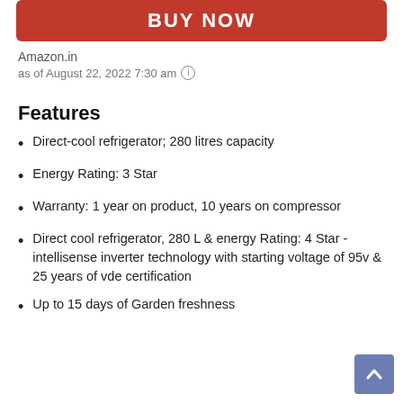[Figure (other): Red BUY NOW button]
Amazon.in
as of August 22, 2022 7:30 am ⓘ
Features
Direct-cool refrigerator; 280 litres capacity
Energy Rating: 3 Star
Warranty: 1 year on product, 10 years on compressor
Direct cool refrigerator, 280 L & energy Rating: 4 Star - intellisense inverter technology with starting voltage of 95v & 25 years of vde certification
Up to 15 days of Garden freshness